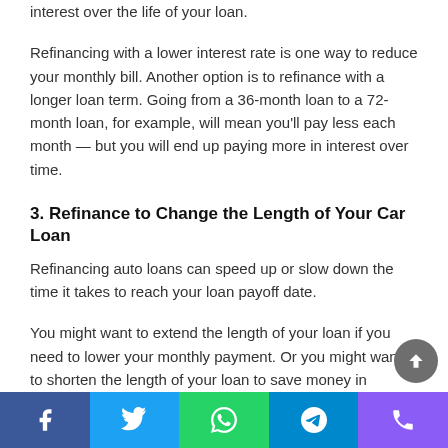interest over the life of your loan.
Refinancing with a lower interest rate is one way to reduce your monthly bill. Another option is to refinance with a longer loan term. Going from a 36-month loan to a 72-month loan, for example, will mean you'll pay less each month — but you will end up paying more in interest over time.
3. Refinance to Change the Length of Your Car Loan
Refinancing auto loans can speed up or slow down the time it takes to reach your loan payoff date.
You might want to extend the length of your loan if you need to lower your monthly payment. Or you might want to shorten the length of your loan to save money in